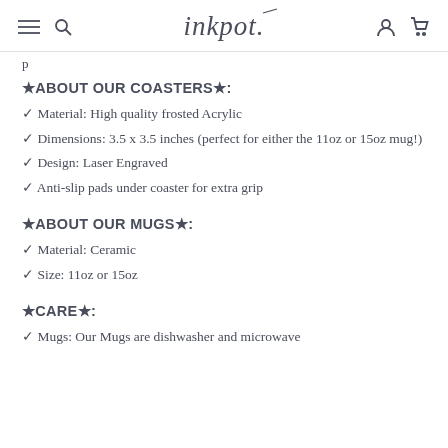inkpot. [navigation header with hamburger menu, search, account, and cart icons]
p
★ABOUT OUR COASTERS★:
✓ Material: High quality frosted Acrylic
✓ Dimensions: 3.5 x 3.5 inches (perfect for either the 11oz or 15oz mug!)
✓ Design: Laser Engraved
✓ Anti-slip pads under coaster for extra grip
★ABOUT OUR MUGS★:
✓ Material: Ceramic
✓ Size: 11oz or 15oz
★CARE★:
✓ Mugs: Our Mugs are dishwasher and microwave